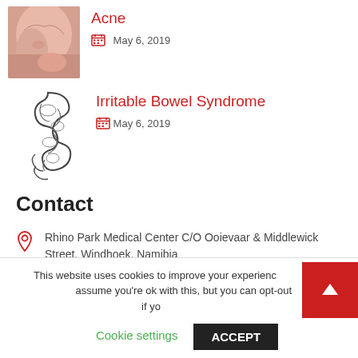[Figure (photo): Photo of a person's chin/jaw area showing acne skin]
Acne
May 6, 2019
[Figure (illustration): Line drawing illustration of intestines/bowel]
Irritable Bowel Syndrome
May 6, 2019
Contact
Rhino Park Medical Center C/O Ooievaar & Middlewick Street, Windhoek, Namibia
info@neshamedical.com
This website uses cookies to improve your experience. We'll assume you're ok with this, but you can opt-out if you wish.
Cookie settings
ACCEPT